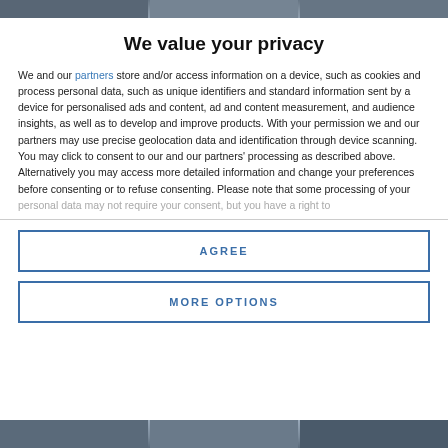[Figure (photo): Blurred photo strip at top of page showing partial images]
We value your privacy
We and our partners store and/or access information on a device, such as cookies and process personal data, such as unique identifiers and standard information sent by a device for personalised ads and content, ad and content measurement, and audience insights, as well as to develop and improve products. With your permission we and our partners may use precise geolocation data and identification through device scanning. You may click to consent to our and our partners' processing as described above. Alternatively you may access more detailed information and change your preferences before consenting or to refuse consenting. Please note that some processing of your personal data may not require your consent, but you have a right to
AGREE
MORE OPTIONS
[Figure (photo): Blurred photo strip at bottom of page]